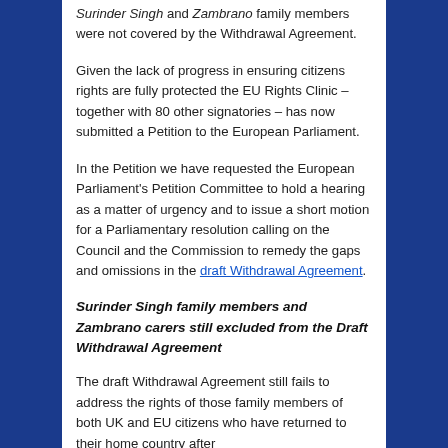Surinder Singh and Zambrano family members were not covered by the Withdrawal Agreement.
Given the lack of progress in ensuring citizens rights are fully protected the EU Rights Clinic – together with 80 other signatories – has now submitted a Petition to the European Parliament.
In the Petition we have requested the European Parliament's Petition Committee to hold a hearing as a matter of urgency and to issue a short motion for a Parliamentary resolution calling on the Council and the Commission to remedy the gaps and omissions in the draft Withdrawal Agreement.
Surinder Singh family members and Zambrano carers still excluded from the Draft Withdrawal Agreement
The draft Withdrawal Agreement still fails to address the rights of those family members of both UK and EU citizens who have returned to their home country after